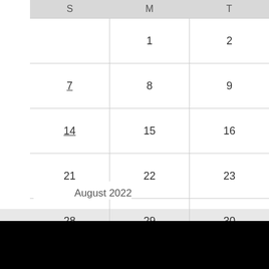| S | M | T |
| --- | --- | --- |
|  | 1 | 2 |
| 7 | 8 | 9 |
| 14 | 15 | 16 |
| 21 | 22 | 23 |
| 28 | 29 | 30 |
August 2022
[Figure (other): Black bar at bottom of page]